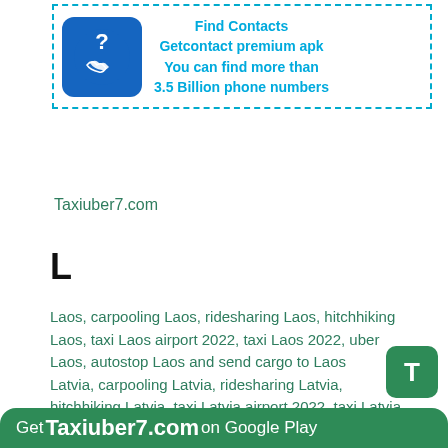[Figure (illustration): Ad banner with dashed blue border containing a blue rounded square icon with a phone and question mark, and text: Find Contacts, Getcontact premium apk, You can find more than 3.5 Billion phone numbers]
Taxiuber7.com
L
Laos, carpooling Laos, ridesharing Laos, hitchhiking Laos, taxi Laos airport 2022, taxi Laos 2022, uber Laos, autostop Laos and send cargo to Laos
Latvia, carpooling Latvia, ridesharing Latvia, hitchhiking Latvia, taxi Latvia airport 2022, taxi Latvia 2022, uber Latvia, autostop Latvia and send cargo to Latvia
Lebanon, carpooling Lebanon, ridesharing Lebanon, hitchhiking Lebanon, taxi Lebanon airport 2022, taxi Lebanon 2022, uber Lebanon, autostop Lebanon and send cargo to Lebanon
Lesotho, carpooling Lesotho, ridesharing Lesotho, hitchhiking Lesotho, taxi Lesotho airport 2022, taxi Lesotho 2022, uber Lesotho, autostop Lesotho and send cargo to Lesotho
Get Taxiuber7.com on Google Play